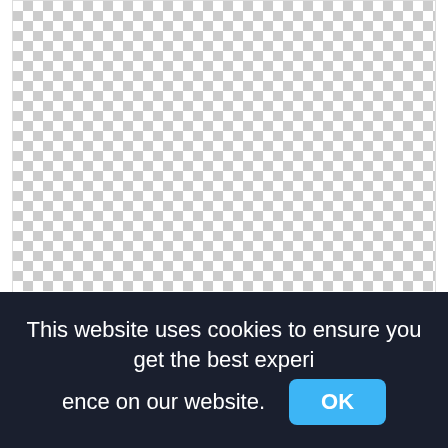[Figure (other): Checkerboard transparent image placeholder showing a PNG with transparent background, representing a victorian frame image]
This How, to Article Aims At Providing Designers, Creative, Diagram,victorian frame png
3607x1898px
This website uses cookies to ensure you get the best experience on our website.